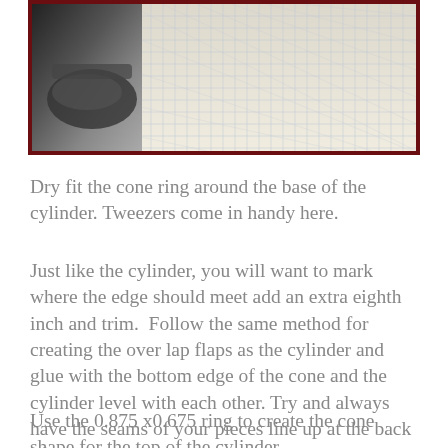[Figure (photo): Photo of a cone ring being dry fit around the base of a cylinder, with graph/grid paper visible in the background and a dark metallic object on the left.]
Dry fit the cone ring around the base of the cylinder. Tweezers come in handy here.
Just like the cylinder, you will want to mark where the edge should meet add an extra eighth inch and trim.  Follow the same method for creating the over lap flaps as the cylinder and glue with the bottom edge of the cone and the cylinder level with each other. Try and always have the seams of your pieces line up at the back of your lantern.
Use the 0.875 x0.675 ring to create the cone shape for the top of the cylinder.